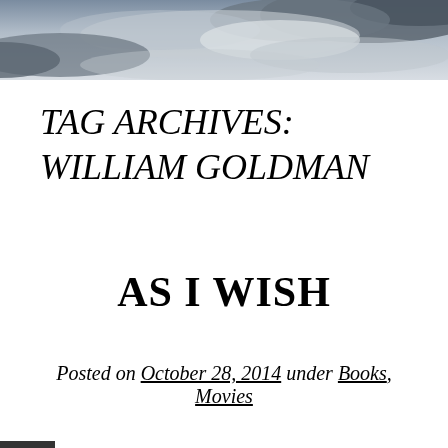[Figure (photo): Cloudy sky with dramatic cloud formations, light breaking through, serving as a header banner image]
TAG ARCHIVES: WILLIAM GOLDMAN
AS I WISH
Posted on October 28, 2014 under Books, Movies